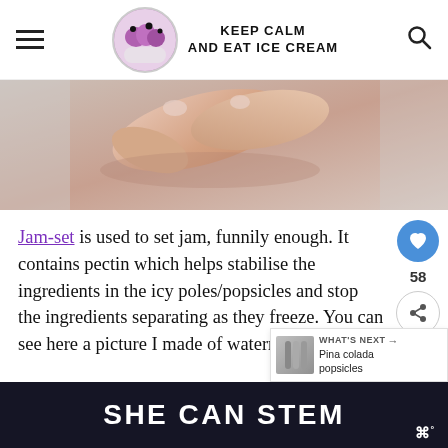KEEP CALM AND EAT ICE CREAM
[Figure (photo): Close-up photo of a hand pinching something small between fingers, light gray background]
Jam-set is used to set jam, funnily enough. It contains pectin which helps stabilise the ingredients in the icy poles/popsicles and stop the ingredients separating as they freeze. You can see here a picture I made of watermelon icy p...
[Figure (other): What's Next widget showing Pina colada popsicles thumbnail]
[Figure (other): SHE CAN STEM advertisement banner at bottom of page]